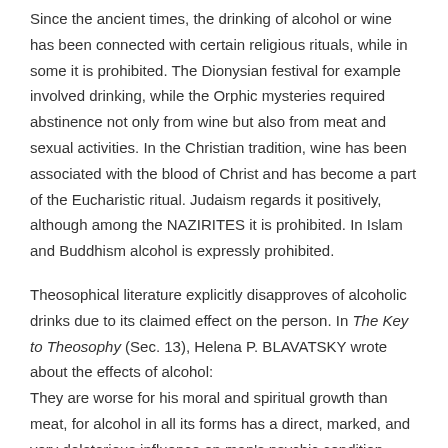Since the ancient times, the drinking of alcohol or wine has been connected with certain religious rituals, while in some it is prohibited. The Dionysian festival for example involved drinking, while the Orphic mysteries required abstinence not only from wine but also from meat and sexual activities. In the Christian tradition, wine has been associated with the blood of Christ and has become a part of the Eucharistic ritual. Judaism regards it positively, although among the NAZIRITES it is prohibited. In Islam and Buddhism alcohol is expressly prohibited.
Theosophical literature explicitly disapproves of alcoholic drinks due to its claimed effect on the person. In The Key to Theosophy (Sec. 13), Helena P. BLAVATSKY wrote about the effects of alcohol: They are worse for his moral and spiritual growth than meat, for alcohol in all its forms has a direct, marked, and very deleterious influence on man's psychic condition. Wine and spirit drinking is only less destructive to the development of the inner powers, than the habitual use of hashish, opium, and similar drugs. The use of alcohol, she says, has a “directly pernicious action upon the brain,” particularly